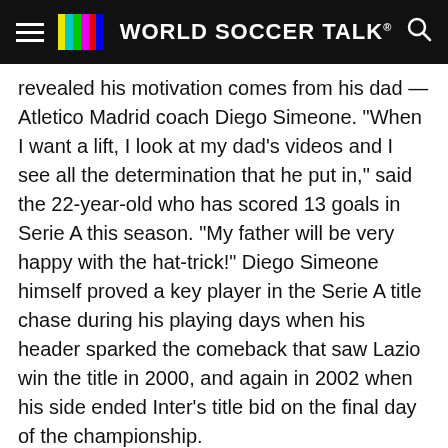WORLD SOCCER TALK
revealed his motivation comes from his dad — Atletico Madrid coach Diego Simeone. "When I want a lift, I look at my dad's videos and I see all the determination that he put in," said the 22-year-old who has scored 13 goals in Serie A this season. "My father will be very happy with the hat-trick!" Diego Simeone himself proved a key player in the Serie A title chase during his playing days when his header sparked the comeback that saw Lazio win the title in 2000, and again in 2002 when his side ended Inter's title bid on the final day of the championship.
Sarri fears fans getting bored
poli coach Maurizio Sarri fears that Serie A fans